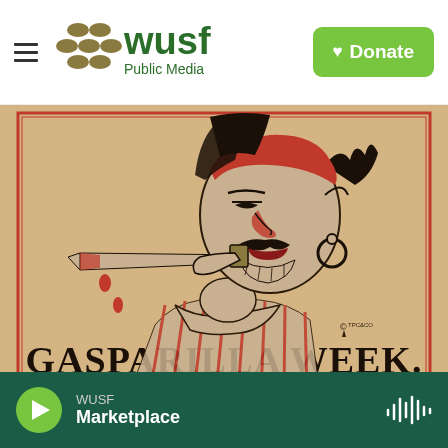WUSF Public Media | Donate
[Figure (illustration): Vintage illustration of a pirate biting a knife with red drops of blood falling, wearing a red bandana and hoop earring. Text at bottom reads 'GASPARILLA WEEK.' on a tan/kraft paper background with red border lines.]
WUSF Marketplace